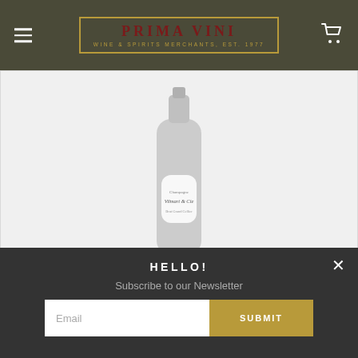PRIMA VINI — Wine & Spirits Merchants, Est. 1977
[Figure (photo): Champagne bottle (Vilmart & Cie) shown against a white background, slightly blurred/desaturated]
Vilmart Brut Grand Cellier
HELLO!
Subscribe to our Newsletter
Email — SUBMIT